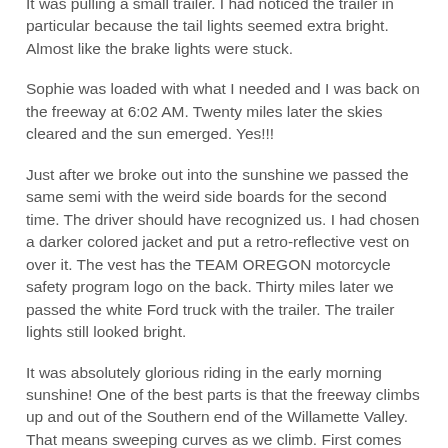passed a flatbed semi with plywood side boards. We also passed a white Ford pickup truck with Washington plates. It was pulling a small trailer. I had noticed the trailer in particular because the tail lights seemed extra bright. Almost like the brake lights were stuck.
Sophie was loaded with what I needed and I was back on the freeway at 6:02 AM. Twenty miles later the skies cleared and the sun emerged. Yes!!!
Just after we broke out into the sunshine we passed the same semi with the weird side boards for the second time. The driver should have recognized us. I had chosen a darker colored jacket and put a retro-reflective vest on over it. The vest has the TEAM OREGON motorcycle safety program logo on the back. Thirty miles later we passed the white Ford truck with the trailer. The trailer lights still looked bright.
It was absolutely glorious riding in the early morning sunshine! One of the best parts is that the freeway climbs up and out of the Southern end of the Willamette Valley. That means sweeping curves as we climb. First comes Rice Hill